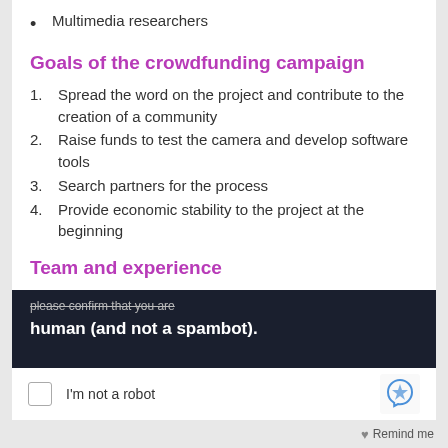Multimedia researchers
Goals of the crowdfunding campaign
1. Spread the word on the project and contribute to the creation of a community
2. Raise funds to test the camera and develop software tools
3. Search partners for the process
4. Provide economic stability to the project at the beginning
Team and experience
[Figure (screenshot): CAPTCHA overlay with text 'please confirm that you are a human (and not a spambot).' and reCAPTCHA 'I'm not a robot' checkbox widget]